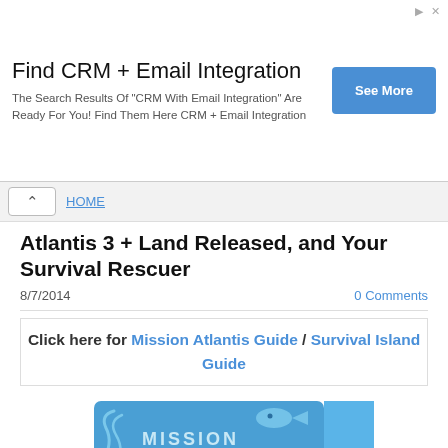[Figure (screenshot): Advertisement banner: 'Find CRM + Email Integration' with 'See More' blue button]
^ [navigation up button and HOME link]
Atlantis 3 + Land Released, and Your Survival Rescuer
8/7/2014   0 Comments
Click here for Mission Atlantis Guide / Survival Island Guide
[Figure (logo): Mission Atlantis logo — blue banner with fish icon and large text 'MISSION ATLANTIS']
Mission Atlantis episode 3 ("Out of the Blue") just released for Members, and Survival Island 4 ("Cabin Fever") is also here for non-Members and the Poptropica app. Atlantis 3 is the last episode of an...